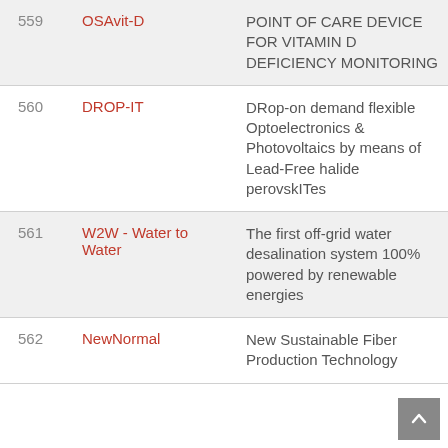| # | Name | Description |
| --- | --- | --- |
| 559 | OSAvit-D | POINT OF CARE DEVICE FOR VITAMIN D DEFICIENCY MONITORING |
| 560 | DROP-IT | DRop-on demand flexible Optoelectronics & Photovoltaics by means of Lead-Free halide perovskITes |
| 561 | W2W - Water to Water | The first off-grid water desalination system 100% powered by renewable energies |
| 562 | NewNormal | New Sustainable Fiber Production Technology |